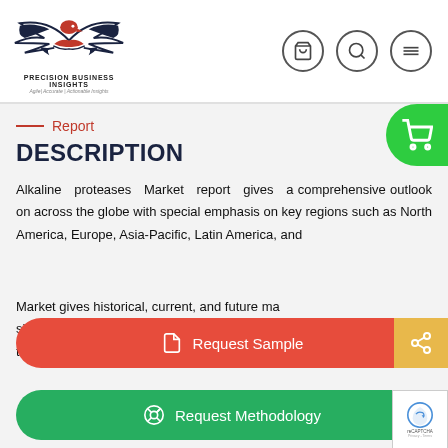PRECISION BUSINESS INSIGHTS — Agile | Accurate | Actionable Insights
Report
DESCRIPTION
Alkaline proteases Market report gives a comprehensive outlook on across the globe with special emphasis on key regions such as North America, Europe, Asia-Pacific, Latin America, and Middle East & Africa. Additionally, the Alkaline proteases Market gives historical, current, and future market size, share, and forecasts to help them in determining business strategies and to study the competitive landscape.